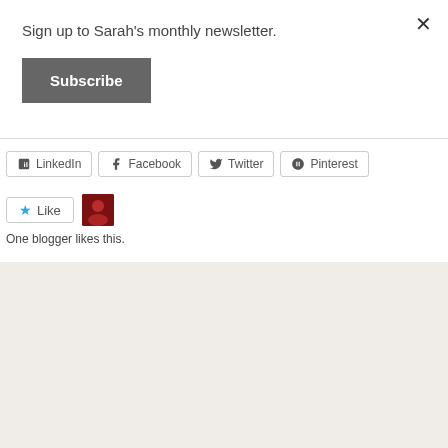Sign up to Sarah's monthly newsletter.
Subscribe
LinkedIn
Facebook
Twitter
Pinterest
Like
One blogger likes this.
Posted on November 6, 2015
Trilogy #KindleCountdown #Deal #99cents